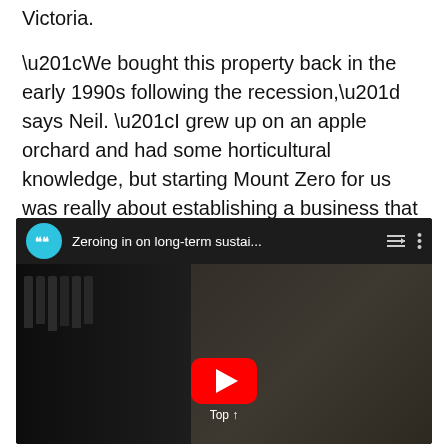Victoria.
“We bought this property back in the early 1990s following the recession,” says Neil. “I grew up on an apple orchard and had some horticultural knowledge, but starting Mount Zero for us was really about establishing a business that valued sustainability, regionalism, provenance and quality produce.”
[Figure (screenshot): YouTube video embed showing 'Zeroing in on long-term sustai...' with a man being interviewed in front of shelves of bottles. A red YouTube play button is visible in the center with a 'Top' label below it.]